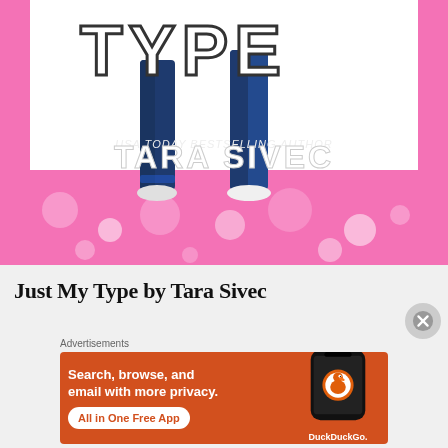[Figure (illustration): Book cover for 'Just My Type' by Tara Sivec – USA Today Bestselling Author. Shows two people in jeans and sneakers standing on a pink floral background, large outlined 'TYPE' text visible, author name in large white letters.]
Just My Type by Tara Sivec
Advertisements
[Figure (screenshot): DuckDuckGo advertisement banner: orange background with phone mockup showing DuckDuckGo app. Text: 'Search, browse, and email with more privacy.' Button: 'All in One Free App'. DuckDuckGo logo and wordmark visible.]